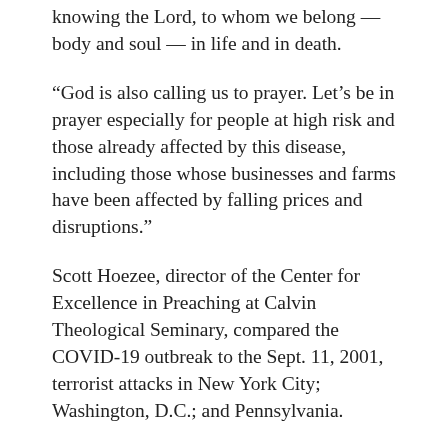knowing the Lord, to whom we belong — body and soul — in life and in death.
“God is also calling us to prayer. Let’s be in prayer especially for people at high risk and those already affected by this disease, including those whose businesses and farms have been affected by falling prices and disruptions.”
Scott Hoezee, director of the Center for Excellence in Preaching at Calvin Theological Seminary, compared the COVID-19 outbreak to the Sept. 11, 2001, terrorist attacks in New York City; Washington, D.C.; and Pennsylvania.
After the 9/11 attacks, people flooded into churches for prayer and comfort. But this situation is also totally different. “We nood